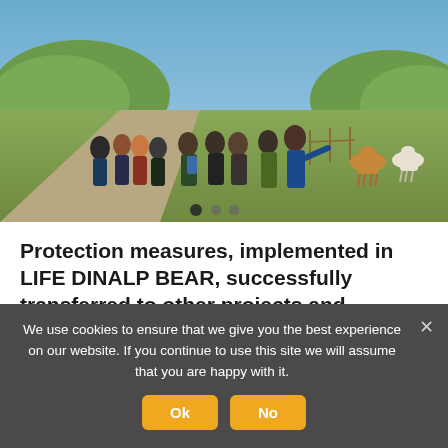[Figure (photo): Group of people standing on a dirt path in a rural landscape with green hills and blue sky. Cattle are visible in the background on the right. A carousel navigation dot indicator is visible at the bottom of the image.]
Protection measures, implemented in LIFE DINALP BEAR, successfully transferred to other projects and practices
We use cookies to ensure that we give you the best experience on our website. If you continue to use this site we will assume that you are happy with it.